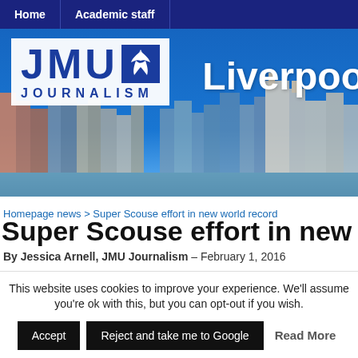Home | Academic staff
[Figure (photo): JMU Journalism logo with bird emblem over Liverpool city skyline panorama with blue sky and waterfront buildings]
Homepage news > Super Scouse effort in new world record
Super Scouse effort in new wo
By Jessica Arnell, JMU Journalism – February 1, 2016
This website uses cookies to improve your experience. We'll assume you're ok with this, but you can opt-out if you wish. Accept | Reject and take me to Google | Read More